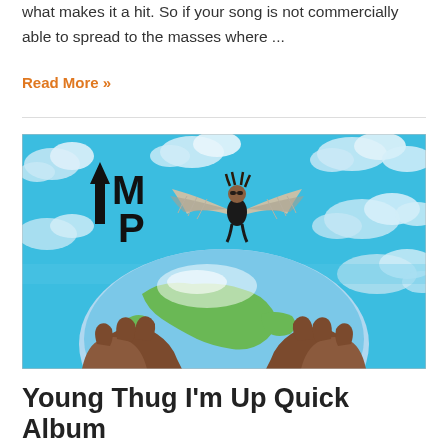what makes it a hit. So if your song is not commercially able to spread to the masses where ...
Read More »
[Figure (illustration): Album cover art for Young Thug I'm Up: blue sky with clouds background, large hands holding a globe, a person with angel wings flying, and the UMP logo (arrow up with M and P letters) in the upper left.]
Young Thug I'm Up Quick Album